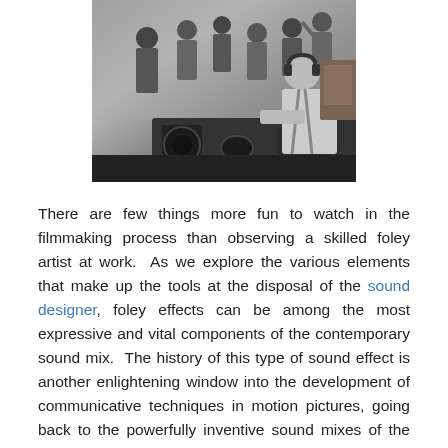[Figure (photo): Black and white vintage photograph of several people in a film/sound studio setting, with one man wearing headphones operating equipment at a console in the foreground.]
There are few things more fun to watch in the filmmaking process than observing a skilled foley artist at work.  As we explore the various elements that make up the tools at the disposal of the sound designer, foley effects can be among the most expressive and vital components of the contemporary sound mix.  The history of this type of sound effect is another enlightening window into the development of communicative techniques in motion pictures, going back to the powerfully inventive sound mixes of the films of directors René Clair for example, like Million à...